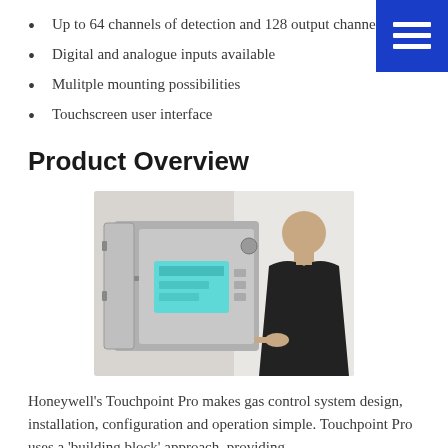Up to 64 channels of detection and 128 output channels
Digital and analogue inputs available
Mulitple mounting possibilities
Touchscreen user interface
Product Overview
[Figure (photo): A man in a black shirt using his finger to interact with the touchscreen of a Honeywell Touchpoint Pro gas control panel mounted on a white wall. The panel is housed in a grey metal enclosure with an open door.]
Honeywell's Touchpoint Pro makes gas control system design, installation, configuration and operation simple. Touchpoint Pro uses a 'building block' approach, providing